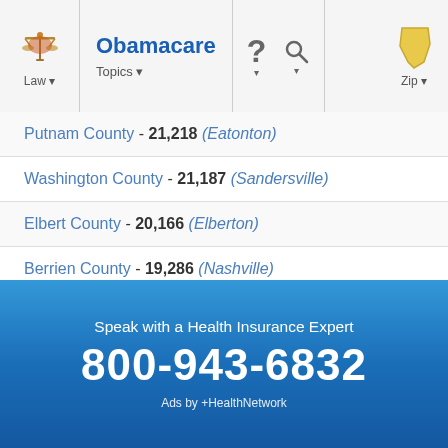Obamacare | Law | Topics | Zip
Putnam County - 21,218 (Eatonton)
Washington County - 21,187 (Sandersville)
Elbert County - 20,166 (Elberton)
Berrien County - 19,286 (Nashville)
Pierce County - 18,758 (Blackshear)
Brantley County - 18,411 (Nahunta)
Banks County - 18,395 (Homer)
Lamar County - 18,317 (Barnesville)
Speak with a Health Insurance Expert
800-943-6832
Ads by +HealthNetwork